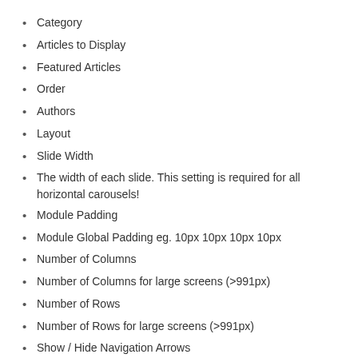Category
Articles to Display
Featured Articles
Order
Authors
Layout
Slide Width
The width of each slide. This setting is required for all horizontal carousels!
Module Padding
Module Global Padding eg. 10px 10px 10px 10px
Number of Columns
Number of Columns for large screens (>991px)
Number of Rows
Number of Rows for large screens (>991px)
Show / Hide Navigation Arrows
Show / Hide Dots at the bottom
Type of transition. Options: horizontal, vertical, fade
Infinite Loop. If Yes, clicking Next while on the last slide will transition to the first slide and vice-versa
Center Items
Center item. Works well with even an odd number of items.